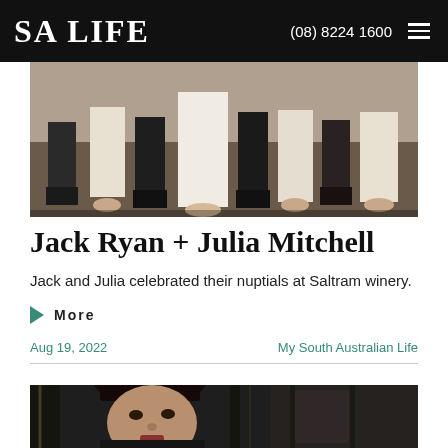SA LIFE  (08) 8224 1600
[Figure (photo): Wedding party photo showing feet and lower legs of wedding party members standing in a row, men in dark suits, women in light dresses]
Jack Ryan + Julia Mitchell
Jack and Julia celebrated their nuptials at Saltram winery.
More
Aug 19, 2022   My South Australian Life
[Figure (photo): Close-up portrait of a woman with dark hair, bangs, looking forward, in a dark setting]